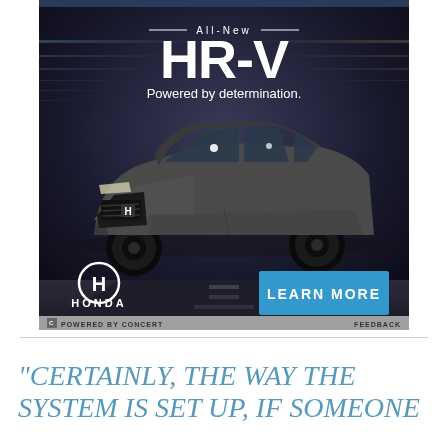[Figure (photo): Honda HR-V advertisement showing a dark gray SUV driving through a tunnel at night. White text reads 'All-New HR-V Powered by determination.' Honda logo and 'LEARN MORE' blue button at bottom. Footer bar reads 'POWERED BY CONCERT' and 'FEEDBACK'.]
"CERTAINLY, THE WAY THE SYSTEM IS SET UP, IF SOMEONE